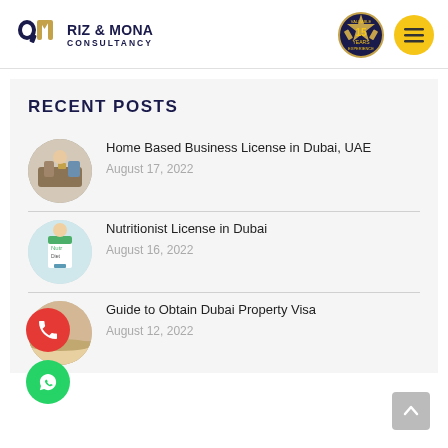[Figure (logo): Riz & Mona Consultancy logo with stylized R and M icon in dark blue and gold, text RIZ & MONA CONSULTANCY]
[Figure (illustration): 15 Years Valuable Experience badge/seal in gold and dark]
[Figure (illustration): Yellow circle with hamburger menu icon]
RECENT POSTS
[Figure (photo): Circular thumbnail of home based business license post]
Home Based Business License in Dubai, UAE
August 17, 2022
[Figure (photo): Circular thumbnail of nutritionist license post showing doctor]
Nutritionist License in Dubai
August 16, 2022
[Figure (photo): Circular thumbnail of Dubai property visa post]
Guide to Obtain Dubai Property Visa
August 12, 2022